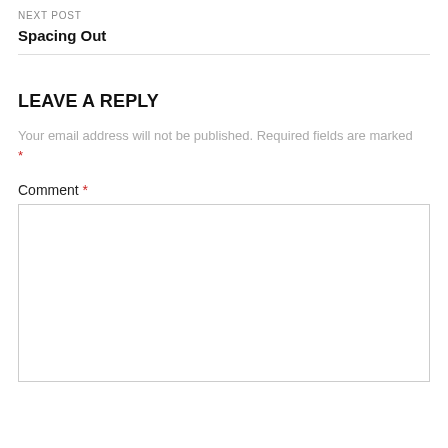NEXT POST
Spacing Out
LEAVE A REPLY
Your email address will not be published. Required fields are marked *
Comment *